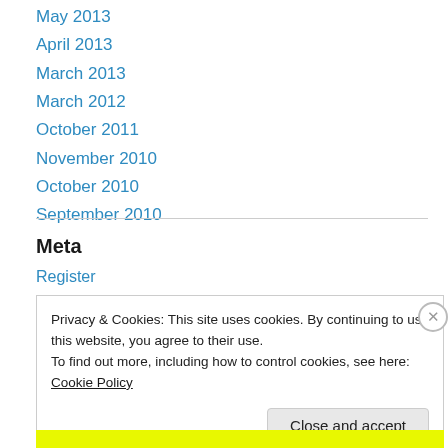May 2013
April 2013
March 2013
March 2012
October 2011
November 2010
October 2010
September 2010
Meta
Register
Privacy & Cookies: This site uses cookies. By continuing to use this website, you agree to their use.
To find out more, including how to control cookies, see here: Cookie Policy